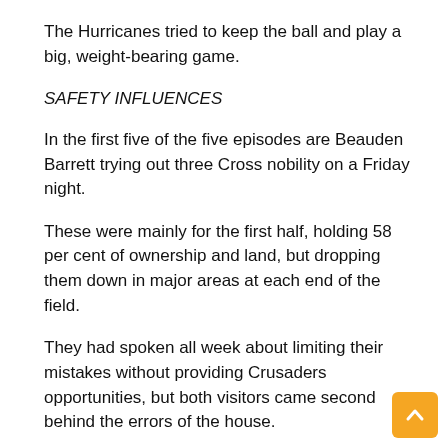The Hurricanes tried to keep the ball and play a big, weight-bearing game.
SAFETY INFLUENCES
In the first five of the five episodes are Beauden Barrett trying out three Cross nobility on a Friday night.
These were mainly for the first half, holding 58 per cent of ownership and land, but dropping them down in major areas at each end of the field.
They had spoken all week about limiting their mistakes without providing Crusaders opportunities, but both visitors came second behind the errors of the house.
Originally the Hurricanes Ben Lam was too slow to turn back a slates from Hall Hall, hitting the member of Will Jordan's branch to the corner in the 16th minute.